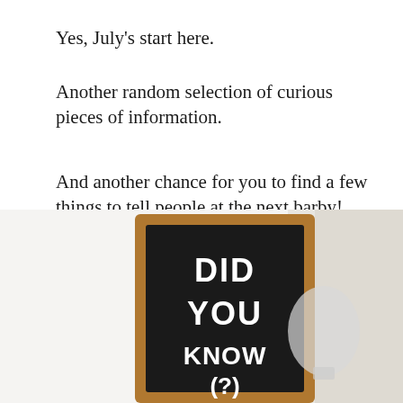Yes, July's start here.
Another random selection of curious pieces of information.
And another chance for you to find a few things to tell people at the next barby!
Enjoy.
[Figure (photo): A chalkboard sign with a wooden frame displaying the text 'DID YOU KNOW ?' in bold white chalk lettering, with a light bulb partially visible on the right side, placed against a white background.]